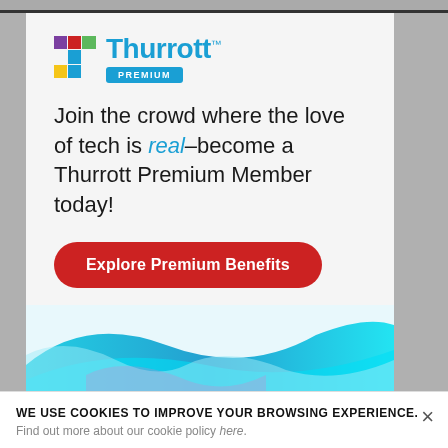[Figure (logo): Thurrott PREMIUM logo with colorful T icon and blue text]
Join the crowd where the love of tech is real–become a Thurrott Premium Member today!
Explore Premium Benefits
[Figure (illustration): Colorful blue and teal wave/swirl graphic at the bottom of the ad card]
WE USE COOKIES TO IMPROVE YOUR BROWSING EXPERIENCE.
Find out more about our cookie policy here.